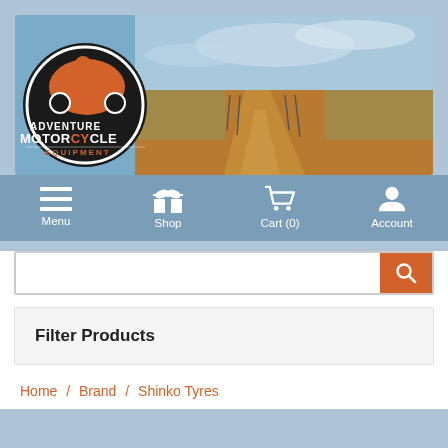[Figure (photo): Adventure Motorcycle Equipment website header banner with logo on left (orange motorcycle rider in circle, text ADVENTURE MOTORCYCLE EQUIPMENT) and background photo of a dirt road through Australian outback desert scrubland under blue sky.]
Menu  Shop  Cart (0)  Account
Filter Products
Home / Brand / Shinko Tyres